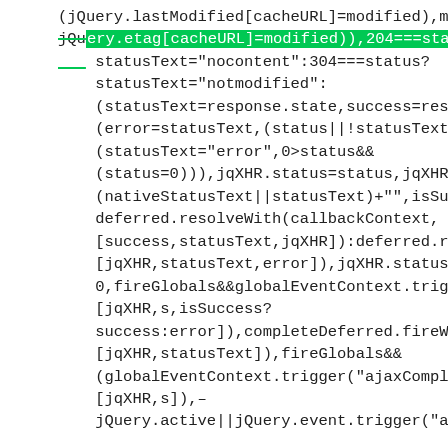(jQuery.lastModified[cacheURL]=modified),modified=jqXH
jQuery.etag[cacheURL]=modified)),204===status||"HEAD
statusText="nocontent":304===status?
statusText="notmodified":
(statusText=response.state,success=response.data,error=
(error=statusText,(status||!statusText)&&
(statusText="error",0>status&&
(status=0))),jqXHR.status=status,jqXHR.statusText=
(nativeStatusText||statusText)+"",isSuccess?
deferred.resolveWith(callbackContext,
[success,statusText,jqXHR]):deferred.rejectWith(callbackC
[jqXHR,statusText,error]),jqXHR.statusCode(_statusCode),
0,fireGlobals&&globalEventContext.trigger(isSuccess?"aja
[jqXHR,s,isSuccess?
success:error]),completeDeferred.fireWith(callbackContex
[jqXHR,statusText]),fireGlobals&&
(globalEventContext.trigger("ajaxComplete",
[jqXHR,s]),–
jQuery.active||jQuery.event.trigger("ajaxStop")))}"object"=: